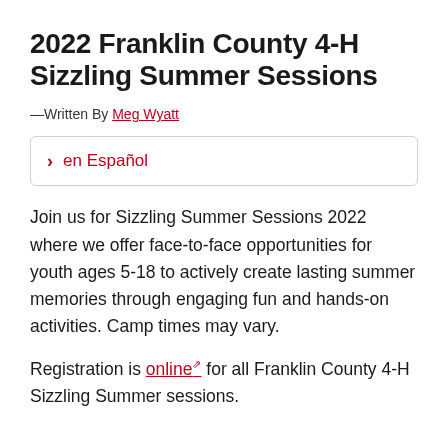2022 Franklin County 4-H Sizzling Summer Sessions
—Written By Meg Wyatt
en Español
Join us for Sizzling Summer Sessions 2022 where we offer face-to-face opportunities for youth ages 5-18 to actively create lasting summer memories through engaging fun and hands-on activities. Camp times may vary.
Registration is online for all Franklin County 4-H Sizzling Summer sessions.